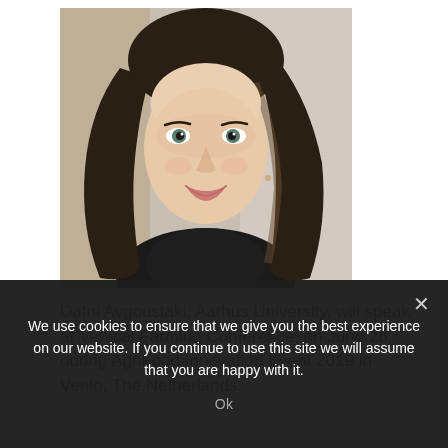[Figure (photo): Headshot of Dafni Avgoustaki, a young woman with long dark wavy hair, wearing a black turtleneck, smiling at the camera. Background is blurred indoor setting.]
Dafni Avgoustaki, Aarhus University, will speak at Vertical Farming Conference, on June 26, during AgriFood Innovation Event 2019 in Venlo, The Netherlands.
We use cookies to ensure that we give you the best experience on our website. If you continue to use this site we will assume that you are happy with it.
Ok